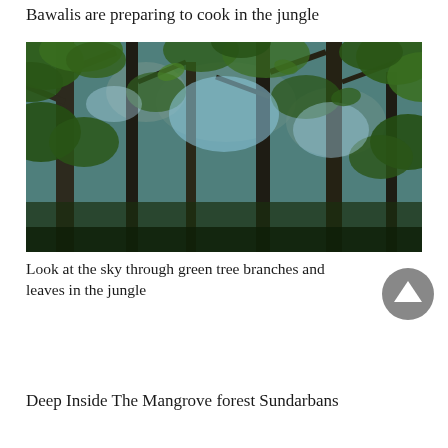Bawalis are preparing to cook in the jungle
[Figure (photo): Upward view through tall jungle trees with dense green leafy branches against a bright blue sky, Sundarbans mangrove forest]
Look at the sky through green tree branches and leaves in the jungle
Deep Inside The Mangrove forest Sundarbans